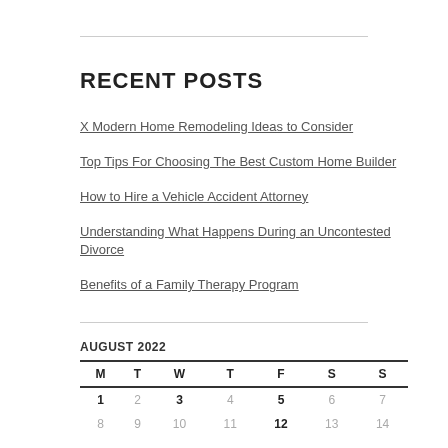RECENT POSTS
X Modern Home Remodeling Ideas to Consider
Top Tips For Choosing The Best Custom Home Builder
How to Hire a Vehicle Accident Attorney
Understanding What Happens During an Uncontested Divorce
Benefits of a Family Therapy Program
| M | T | W | T | F | S | S |
| --- | --- | --- | --- | --- | --- | --- |
| 1 | 2 | 3 | 4 | 5 | 6 | 7 |
| 8 | 9 | 10 | 11 | 12 | 13 | 14 |